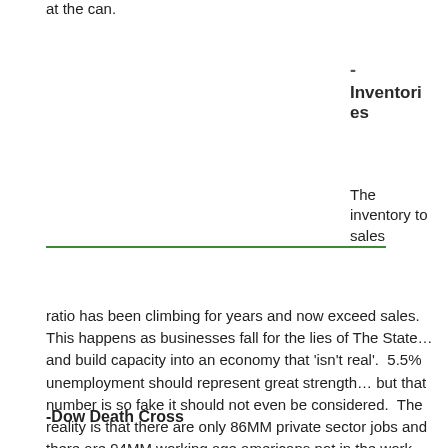at the can.
- Inventories
The inventory to sales ratio has been climbing for years and now exceed sales.  This happens as businesses fall for the lies of The State… and build capacity into an economy that 'isn't real'.  5.5% unemployment should represent great strength… but that number is so fake it should not even be considered.  The reality is that there are only 86MM private sector jobs and there are 94MM working age americans not in the work force… and 146MM receiving some form of welfare.  Just like the commodities space… business in general will be forced to slash prices… followed by reduction in capacity, layoffs and bankruptcies.
-Dow Death Cross